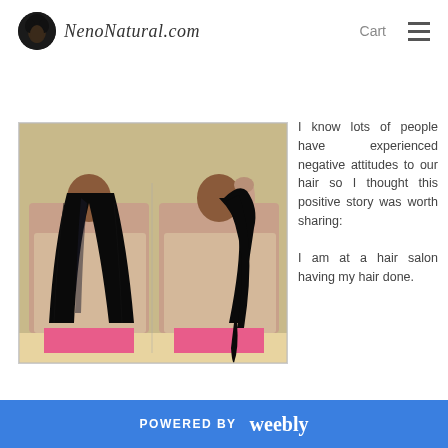NenoNatural.com   Cart
[Figure (photo): Two back-view photos of a woman with very long straight black hair; left shows hair down, right shows hair being held up in a ponytail]
I know lots of people have experienced negative attitudes to our hair so I thought this positive story was worth sharing:

I am at a hair salon having my hair done.
POWERED BY weebly